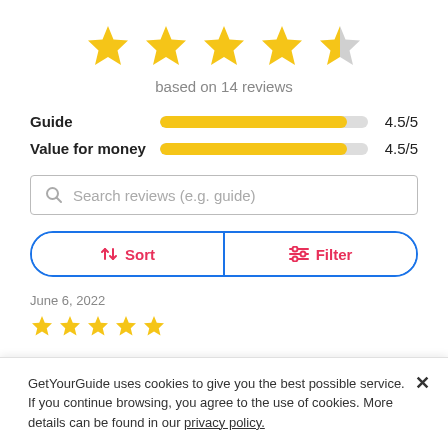[Figure (other): 4.5 out of 5 stars rating display: four full gold stars and one half-gold/half-grey star]
based on 14 reviews
[Figure (bar-chart): Ratings breakdown]
[Figure (screenshot): Search reviews input box with placeholder text 'Search reviews (e.g. guide)']
[Figure (other): Sort and Filter button row with blue rounded border]
June 6, 2022
[Figure (other): Five full gold star rating for a review]
GetYourGuide uses cookies to give you the best possible service. If you continue browsing, you agree to the use of cookies. More details can be found in our privacy policy.